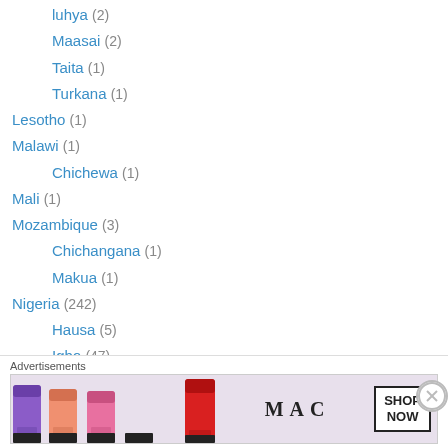luhya (2)
Maasai (2)
Taita (1)
Turkana (1)
Lesotho (1)
Malawi (1)
Chichewa (1)
Mali (1)
Mozambique (3)
Chichangana (1)
Makua (1)
Nigeria (242)
Hausa (5)
Igbo (47)
Kalabari (1)
Pidgin English (38)
[Figure (photo): MAC cosmetics advertisement showing lipsticks with SHOP NOW text]